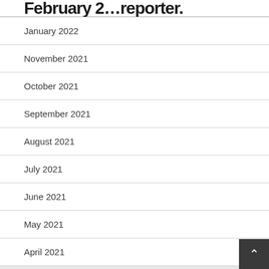February 2… reporter.
January 2022
November 2021
October 2021
September 2021
August 2021
July 2021
June 2021
May 2021
April 2021